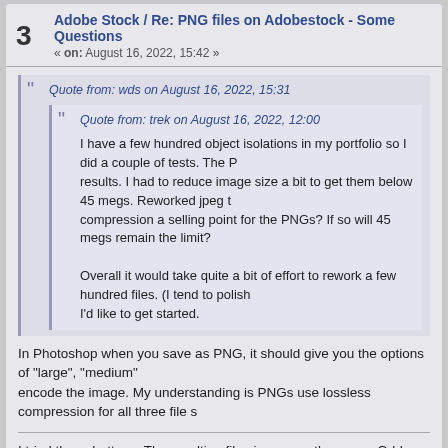3 Adobe Stock / Re: PNG files on Adobestock - Some Questions
« on: August 16, 2022, 15:42 »
Quote from: wds on August 16, 2022, 15:31
Quote from: trek on August 16, 2022, 12:00
I have a few hundred object isolations in my portfolio so I did a couple of tests. The P... results. I had to reduce image size a bit to get them below 45 megs. Reworked jpeg ... compression a selling point for the PNGs? If so will 45 megs remain the limit?

Overall it would take quite a bit of effort to rework a few hundred files. (I tend to polish... I'd like to get started.
In Photoshop when you save as PNG, it should give you the options of "large", "medium"... encode the image. My understanding is PNGs use lossless compression for all three file s...
I tried those buttons. The resulting file sizes were the same. Odd.
4 Adobe Stock / Re: PNG files on Adobestock - Some Questions
« on: August 16, 2022, 12:00 »
I have a few hundred object isolations in my portfolio so I did a couple of t...